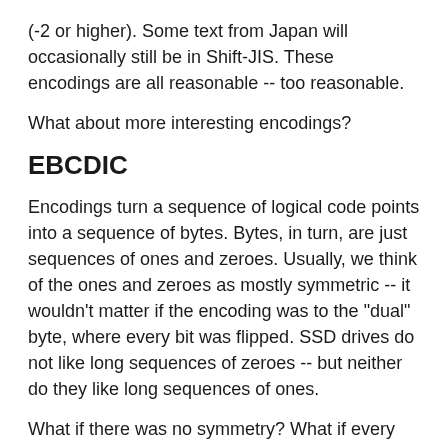(-2 or higher). Some text from Japan will occasionally still be in Shift-JIS. These encodings are all reasonable -- too reasonable.
What about more interesting encodings?
EBCDIC
Encodings turn a sequence of logical code points into a sequence of bytes. Bytes, in turn, are just sequences of ones and zeroes. Usually, we think of the ones and zeroes as mostly symmetric -- it wouldn't matter if the encoding was to the "dual" byte, where every bit was flipped. SSD drives do not like long sequences of zeroes -- but neither do they like long sequences of ones.
What if there was no symmetry? What if every "one" weakened your byte?